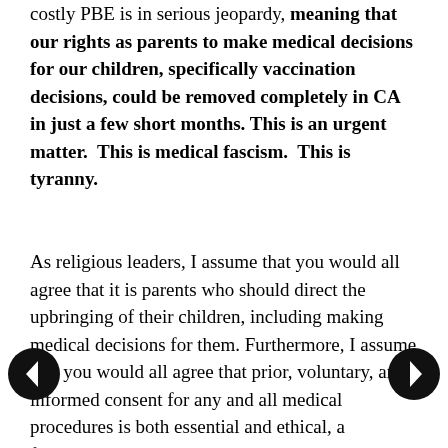costly PBE is in serious jeopardy, meaning that our rights as parents to make medical decisions for our children, specifically vaccination decisions, could be removed completely in CA in just a few short months. This is an urgent matter. This is medical fascism. This is tyranny.
As religious leaders, I assume that you would all agree that it is parents who should direct the upbringing of their children, including making medical decisions for them. Furthermore, I assume that you would all agree that prior, voluntary, and informed consent for any and all medical procedures is both essential and ethical, a fundamental human right. When prior, voluntary, and informed consent for medical treatments and procedures is no longer the law, we are no